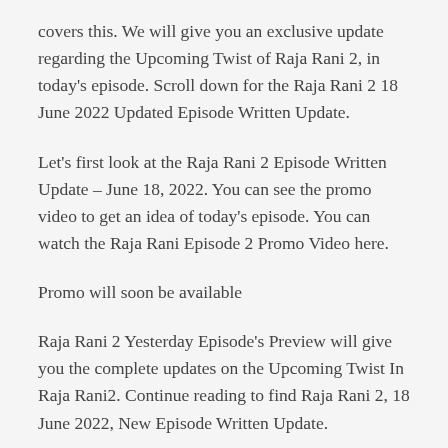covers this. We will give you an exclusive update regarding the Upcoming Twist of Raja Rani 2, in today's episode. Scroll down for the Raja Rani 2 18 June 2022 Updated Episode Written Update.
Let's first look at the Raja Rani 2 Episode Written Update – June 18, 2022. You can see the promo video to get an idea of today's episode. You can watch the Raja Rani Episode 2 Promo Video here.
Promo will soon be available
Raja Rani 2 Yesterday Episode's Preview will give you the complete updates on the Upcoming Twist In Raja Rani2. Continue reading to find Raja Rani 2, 18 June 2022, New Episode Written Update.